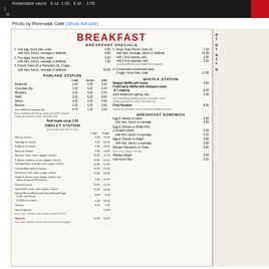[Figure (photo): Top strip of a restaurant menu photo showing Hollandaise sauce pricing]
Photo by Riverwalk Café (Show full size)
[Figure (photo): Riverwalk Café breakfast menu photo showing Breakfast Specials, Pancake Station, Waffle Station, Omelet Station, and Breakfast Sandwich sections]
BREAKFAST
BREAKFAST SPECIALS
1. One egg, home fries, toast 4.50 / with ham, bacon, sausage or kielbasa 6.50
2. Two eggs, home fries, toast 5.50 / with ham, bacon, sausage or kielbasa 7.50
3. French Toast (2) or Pancakes (2), 2 eggs with ham, bacon, sausage or kielbasa 10.95
4. Texas Style French Toast (3) 7.25 / with ham, sausage, bacon or kielbasa 10.95 / with 1 fruit topping, add 2.50 / with 2 fruit toppings, add 3.00 / strawberry/blueberry/pineapple/banana/peach
6. Homemade corned beef hash, 2 eggs, home fries, toast 11.95
PANCAKE STATION
|  | single | double | triple |
| --- | --- | --- | --- |
| Buttermilk | 2.95 | 5.25 | 8.25 |
| Chocolate chip | 3.25 | 6.25 | 9.50 |
| Blueberry | 3.25 | 6.25 | 9.50 |
| M&M | 3.25 | 6.25 | 9.50 |
| Walnut | 3.25 | 6.25 | 9.50 |
| Banana | 3.25 | 6.25 | 9.50 |
| each additional topping add | 0.75 | 1.25 | 2.00 |
Fruit: strawberry, blueberry, peach, pineapple, banana
Candy: gummy bear, raisin, chocolate chip
Real maple syrup 2.50
WAFFLE STATION
Belgian Waffle with butter 4.50
Fruit/Candy Waffle with whipped cream & 1 topping 6.25
each additional topping, add 1.00
Fruit: strawberry, blueberry, peach, pineapple, lemon
Candy: gummy bear, raisin, chocolate chip
Fruit Paradise 8.00
strawberry, pineapple, peach, blueberry & whipped cream
OMELET STATION
served with home fries & toast
|  | 2 eggs | 3 eggs |
| --- | --- | --- |
| Ham & cheese | 9.95 | 10.95 |
| Sausage & cheese | 9.95 | 10.95 |
| Kielbasa & cheese | 9.95 | 10.95 |
| Bacon & cheese | 9.95 | 10.95 |
| Western: ham, onion, pepper, cheese | 10.95 | 11.95 |
| K Bomb: kielbasa, onion, pepper, cheese | 10.95 | 11.95 |
| Sausage bomb: sausage, onion, pepper, cheese | 10.95 | 11.95 |
| Corned Beef hash & cheese | 11.95 | 12.95 |
| Hash bomb: ham, onion, pepper, cheese | 12.95 | 13.95 |
| Veggie & cheese: onion, pepper, tomato, and choice of spinach OR removal | 9.95 | 10.95 |
| Steak & cheese | 10.95 | 11.95 |
| Steak bomb: steak, onion, pepper, cheese | 12.95 | 13.95 |
| Spinach/Broccoli/Mushroom/Tomato/Onion/Pepper (1) Bar and cheese | 8.50 | 9.50 |
| (2) fillets and cheese | 9.50 | 10.50 |
| Cheese | 6.25 | 7.25 |
| House Special |  | 14.95 |
| bacon, ham, sausage, onion, pepper, tomato & cheese |  |  |
| Spanish (ham, onion, jalapeño, tomato, cheese & red crushed pepper) | 11.95 | 12.95 |
BREAKFAST SANDWICH
Egg & cheese on toast 2.95 / with ham, bacon or sausage 5.95
Egg & Cheese on Bulkie Roll or English Muffin 3.25 / with ham, bacon or sausage 6.25
Egg & Cheese on Bagel 3.95 / with ham, bacon or sausage 6.50
Western Sandwich on Toast 6.50 / ham, onion, pepper and egg
Western Bagel 6.95
Add home fries 2.50